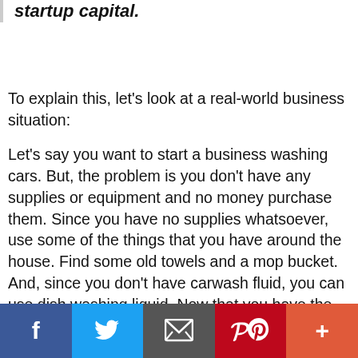startup capital.
To explain this, let’s look at a real-world business situation:
Let’s say you want to start a business washing cars. But, the problem is you don’t have any supplies or equipment and no money purchase them. Since you have no supplies whatsoever, use some of the things that you have around the house. Find some old towels and a mop bucket. And, since you don’t have carwash fluid, you can use dish washing liquid. Now that you have the essentials, ask a neighbor, family member or spouse if you can wash their car for 10 or 15 dollars. With the money you earn from that job, you can buy some actual carwash fluid and a carwash
Facebook Twitter Email Pinterest +